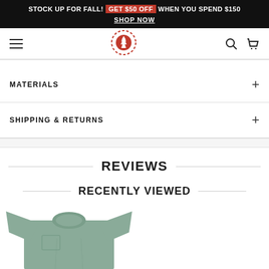STOCK UP FOR FALL! GET $50 OFF WHEN YOU SPEND $150 SHOP NOW
[Figure (logo): Element Skateboards logo - red circular badge with tree design]
MATERIALS
SHIPPING & RETURNS
REVIEWS
RECENTLY VIEWED
[Figure (photo): Green/sage colored t-shirt product photo, partially visible]